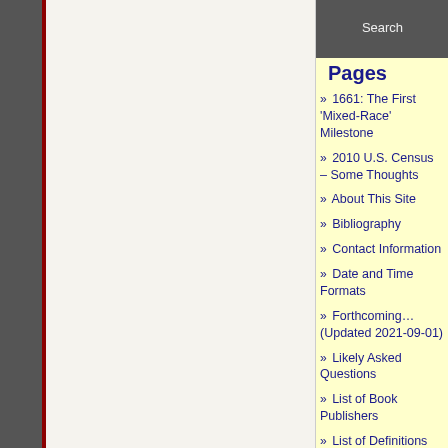[Figure (screenshot): Search button in dark gray bar at top of sidebar]
Pages
1661: The First 'Mixed-Race' Milestone
2010 U.S. Census – Some Thoughts
About This Site
Bibliography
Contact Information
Date and Time Formats
Forthcoming… (Updated 2021-09-01)
Likely Asked Questions
List of Book Publishers
List of Definitions and Terms
My Favorite